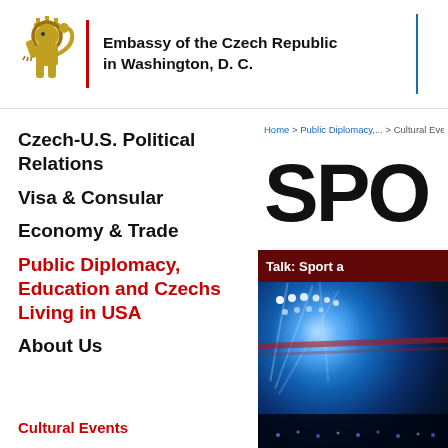Embassy of the Czech Republic in Washington, D. C.
Czech-U.S. Political Relations
Visa & Consular
Economy & Trade
Public Diplomacy, Education and Czechs Living in USA
About Us
Home > Public Diplomacy,... > Cultural Eve...
[Figure (photo): Sports event image with stadium floodlights, large bold text SPO... (partial), subtitle bar reading 'Talk: Sport a...' on dark red background]
Cultural Events